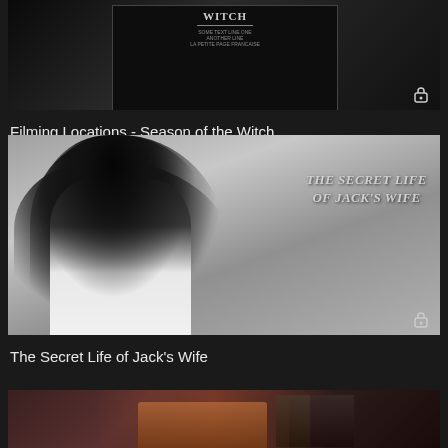[Figure (screenshot): Thumbnail for 'Filming Locations - Season of the Witch' video, partially cropped at top, with a lock icon in bottom-right corner.]
Filming Locations - Season of the Witch
[Figure (screenshot): Thumbnail for 'The Secret Life of Jack's Wife' showing a black and white image of a woman with dark hair in a white top, with the title text 'THE SECRET LIFE OF JACK'S WIFE' overlaid on the right side. Lock icon in bottom-right corner.]
The Secret Life of Jack's Wife
[Figure (screenshot): Partially visible thumbnail at the bottom of the page, showing a colorful scene, cropped.]